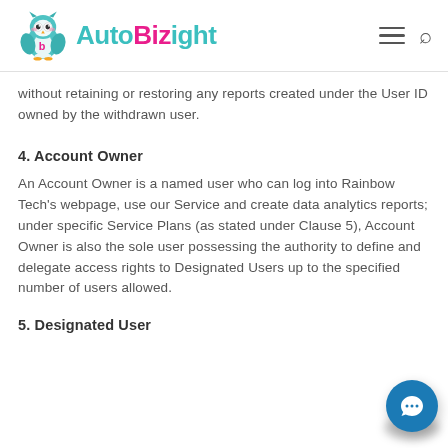AutoBizight
without retaining or restoring any reports created under the User ID owned by the withdrawn user.
4. Account Owner
An Account Owner is a named user who can log into Rainbow Tech's webpage, use our Service and create data analytics reports; under specific Service Plans (as stated under Clause 5), Account Owner is also the sole user possessing the authority to define and delegate access rights to Designated Users up to the specified number of users allowed.
5. Designated User